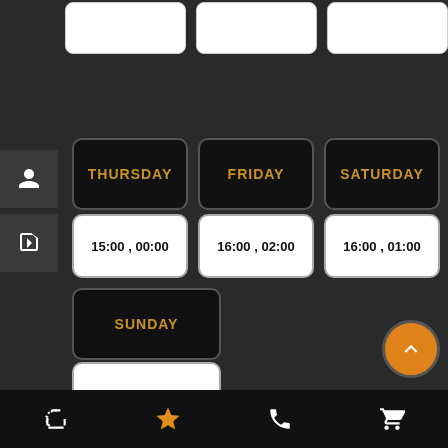[Figure (screenshot): Mobile app screenshot showing weekly schedule with days Thursday, Friday, Saturday, Sunday and their opening/closing times]
THURSDAY
15:00 , 00:00
FRIDAY
16:00 , 02:00
SATURDAY
16:00 , 01:00
SUNDAY
16:00 , 00:00